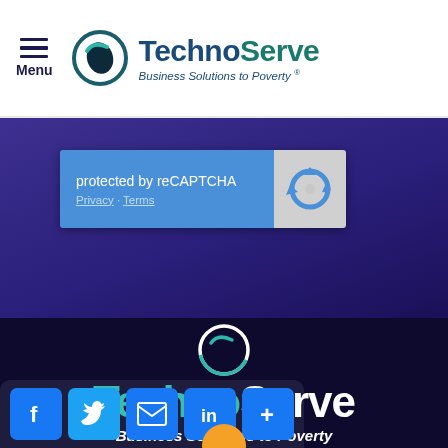[Figure (logo): TechnoServe logo in header: circular icon with teal and navy, text 'TechnoServe' with tagline 'Business Solutions to Poverty®']
[Figure (screenshot): reCAPTCHA widget: blue left panel with text 'protected by reCAPTCHA' and links 'Privacy · Terms', grey right panel with reCAPTCHA circular arrow icon]
[Figure (logo): Large TechnoServe logo on dark navy background: circular teal/white icon, 'TechnoServe' in teal and white, tagline 'Business Solutions to Poverty' in white italic]
[Figure (infographic): Social sharing bar at bottom: Facebook (f), Twitter (bird), Email (envelope), LinkedIn (in), More (+) buttons in blue square icons]